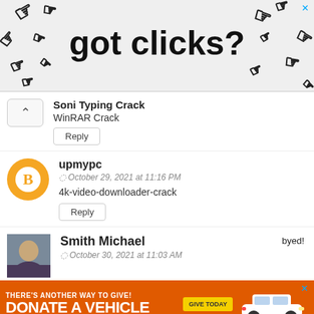[Figure (other): Advertisement banner: 'got clicks?' with cursor/hand clip art icons surrounding the text, close button X in top right]
Soni Typing Crack
WinRAR Crack
Reply
upmypc
October 29, 2021 at 11:16 PM
4k-video-downloader-crack
Reply
Smith Michael
October 30, 2021 at 11:03 AM
[Figure (other): Advertisement banner: THERE'S ANOTHER WAY TO GIVE! DONATE A VEHICLE GIVE TODAY with car image, orange background, close X button]
Videor ad Video Editor Crack
Reply
Powered by Hooligan Media